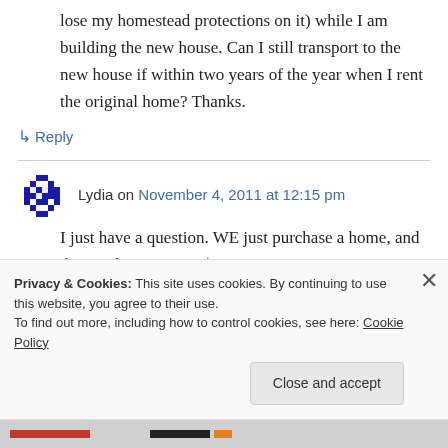lose my homestead protections on it) while I am building the new house. Can I still transport to the new house if within two years of the year when I rent the original home? Thanks.
↳ Reply
Lydia on November 4, 2011 at 12:15 pm
I just have a question. WE just purchase a home, and the purchase price is $55,000.00 Can
Privacy & Cookies: This site uses cookies. By continuing to use this website, you agree to their use.
To find out more, including how to control cookies, see here: Cookie Policy
Close and accept